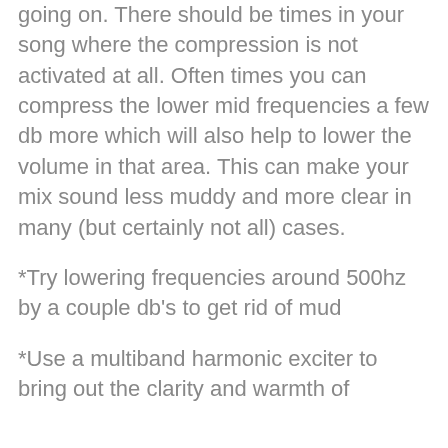going on. There should be times in your song where the compression is not activated at all. Often times you can compress the lower mid frequencies a few db more which will also help to lower the volume in that area. This can make your mix sound less muddy and more clear in many (but certainly not all) cases.
*Try lowering frequencies around 500hz by a couple db's to get rid of mud
*Use a multiband harmonic exciter to bring out the clarity and warmth of